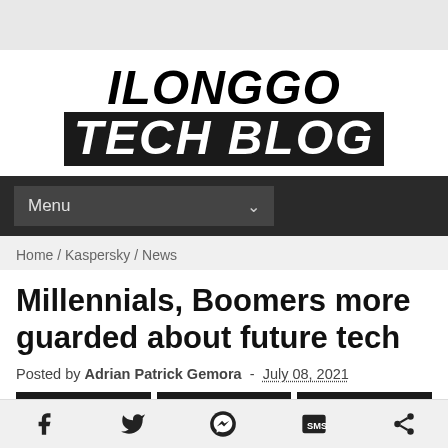ILONGGO TECH BLOG
Menu
Home / Kaspersky / News
Millennials, Boomers more guarded about future tech
Posted by Adrian Patrick Gemora - July 08, 2021
Share | Tweet | Share